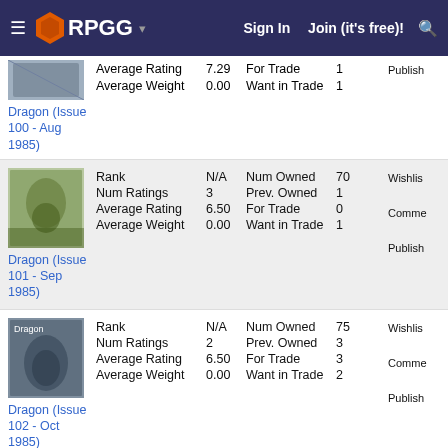RPGG — Sign In  Join (it's free)!
Average Rating 7.29  For Trade 1
Average Weight 0.00  Want in Trade 1  Publisher
Dragon (Issue 100 - Aug 1985)
| Field | Value | Field | Value |
| --- | --- | --- | --- |
| Rank | N/A | Num Owned | 70 |
| Num Ratings | 3 | Prev. Owned | 1 |
| Average Rating | 6.50 | For Trade | 0 |
| Average Weight | 0.00 | Want in Trade | 1 |
Dragon (Issue 101 - Sep 1985)  Wishlist  Comments  Publisher
| Field | Value | Field | Value |
| --- | --- | --- | --- |
| Rank | N/A | Num Owned | 75 |
| Num Ratings | 2 | Prev. Owned | 3 |
| Average Rating | 6.50 | For Trade | 3 |
| Average Weight | 0.00 | Want in Trade | 2 |
Dragon (Issue 102 - Oct 1985)  Wishlist  Comments  Publisher
| Field | Value | Field | Value |
| --- | --- | --- | --- |
| Rank | N/A | Num Owned | 65 |
| Num Ratings | 3 | Prev. Owned | 3 |
| Average Rating | 6.50 | For Trade | 1 |
| Average Weight | 0.00 | Want in Trade | 1 |
Dragon (Issue 103 - Nov 1985)  Wishlist  Comments  Publisher